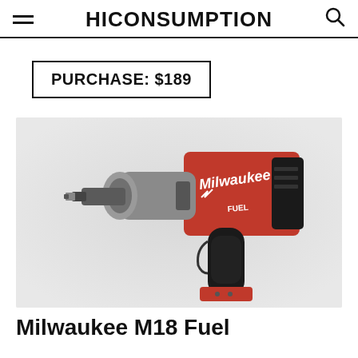HICONSUMPTION
PURCHASE: $189
[Figure (photo): Milwaukee M18 Fuel cordless impact wrench, red and black color, shown on a grey gradient background. The tool features the Milwaukee logo and FUEL branding on the red body.]
Milwaukee M18 Fuel